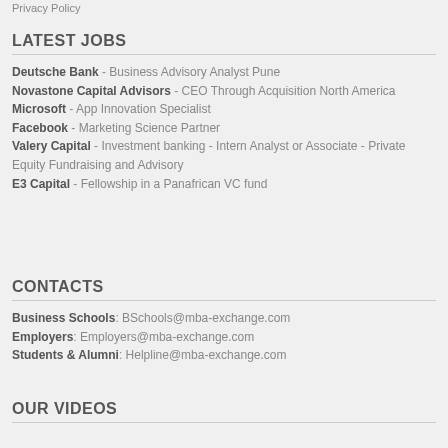Privacy Policy
LATEST JOBS
Deutsche Bank - Business Advisory Analyst Pune
Novastone Capital Advisors - CEO Through Acquisition North America
Microsoft - App Innovation Specialist
Facebook - Marketing Science Partner
Valery Capital - Investment banking - Intern Analyst or Associate - Private Equity Fundraising and Advisory
E3 Capital - Fellowship in a Panafrican VC fund
CONTACTS
Business Schools: BSchools@mba-exchange.com
Employers: Employers@mba-exchange.com
Students & Alumni: Helpline@mba-exchange.com
OUR VIDEOS